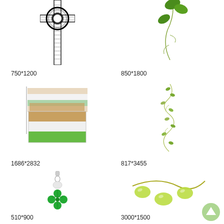[Figure (illustration): Celtic cross illustration, black and white, intricate knotwork pattern]
750*1200
[Figure (illustration): Green ivy vine with leaves curling downward on white background]
850*1800
[Figure (illustration): Irish flag horizontal stripes: orange, white, green, layered slightly offset]
1686*2832
[Figure (illustration): Delicate green vine with small leaves spiraling downward on white background]
817*3455
[Figure (illustration): Green four-leaf clover pendant charm with crystal accents, silver bail]
510*900
[Figure (illustration): Three light green round leaves on a curved yellow-green stem]
3000*1500
[Figure (illustration): Green upward arrow circle icon, light green color]